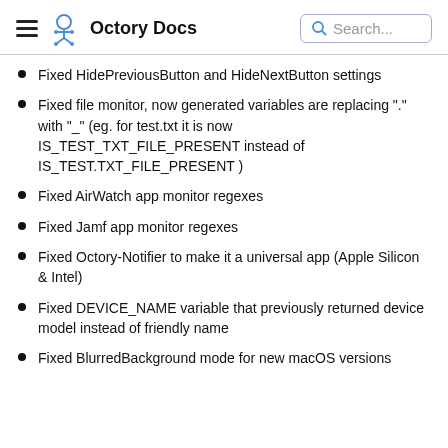Octory Docs  Search...
Fixed HidePreviousButton and HideNextButton settings
Fixed file monitor, now generated variables are replacing "." with "_" (eg. for test.txt it is now IS_TEST_TXT_FILE_PRESENT instead of IS_TEST.TXT_FILE_PRESENT )
Fixed AirWatch app monitor regexes
Fixed Jamf app monitor regexes
Fixed Octory-Notifier to make it a universal app (Apple Silicon & Intel)
Fixed DEVICE_NAME variable that previously returned device model instead of friendly name
Fixed BlurredBackground mode for new macOS versions